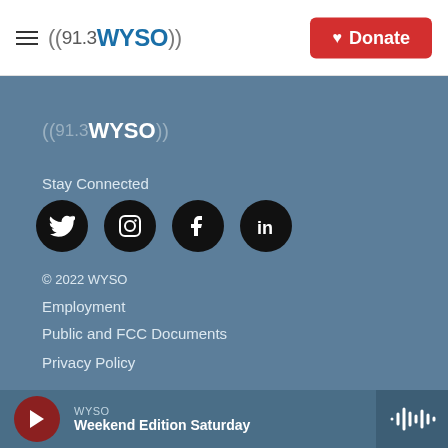((91.3WYSO)) | Donate
[Figure (logo): 91.3 WYSO radio station logo in footer with parentheses styling]
Stay Connected
[Figure (infographic): Four social media icons: Twitter, Instagram, Facebook, LinkedIn — black circles with white icons]
© 2022 WYSO
Employment
Public and FCC Documents
Privacy Policy
WYSO | Weekend Edition Saturday